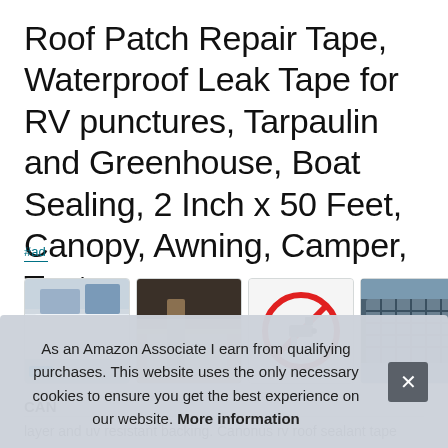Roof Patch Repair Tape, Waterproof Leak Tape for RV punctures, Tarpaulin and Greenhouse, Boat Sealing, 2 Inch x 50 Feet, Canopy, Awning, Camper, Tents
#ad
[Figure (photo): Four product thumbnail images in a horizontal row showing the tape product in various use contexts: tarp/white material, hand applying tape, no-caulking symbol, car grille.]
As an Amazon Associate I earn from qualifying purchases. This website uses the only necessary cookies to ensure you get the best experience on our website. More information
CAN
layer and uv resistant backing. Canonus rv roof sealant tape